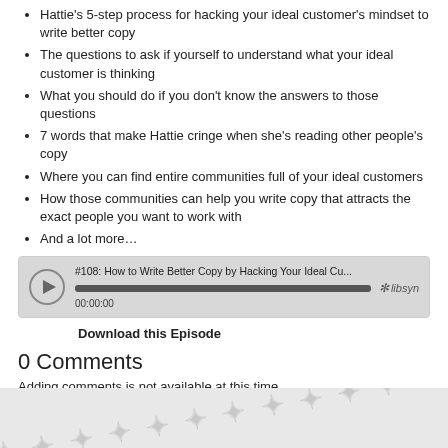Hattie's 5-step process for hacking your ideal customer's mindset to write better copy
The questions to ask if yourself to understand what your ideal customer is thinking
What you should do if you don't know the answers to those questions
7 words that make Hattie cringe when she's reading other people's copy
Where you can find entire communities full of your ideal customers
How those communities can help you write copy that attracts the exact people you want to work with
And a lot more…
[Figure (screenshot): Libsyn podcast audio player widget showing episode #108: How to Write Better Copy by Hacking Your Ideal Cu... with play button, progress bar showing 00:00:00, and Libsyn logo]
Download this Episode
0 Comments
Adding comments is not available at this time.